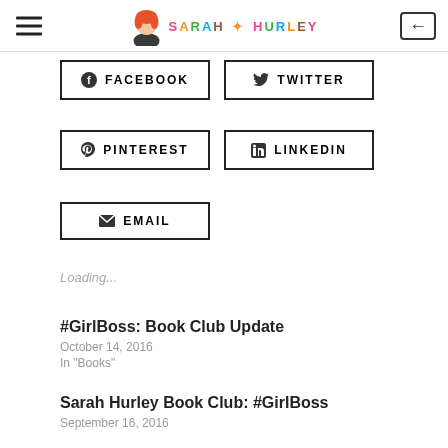SARAH * HURLEY
FACEBOOK
TWITTER
PINTEREST
LINKEDIN
EMAIL
Loading...
#GirlBoss: Book Club Update
October 14, 2016
In "Books"
Sarah Hurley Book Club: #GirlBoss
September 16, 2016